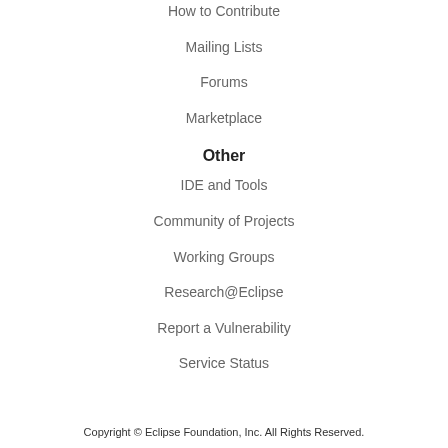How to Contribute
Mailing Lists
Forums
Marketplace
Other
IDE and Tools
Community of Projects
Working Groups
Research@Eclipse
Report a Vulnerability
Service Status
Copyright © Eclipse Foundation, Inc. All Rights Reserved.